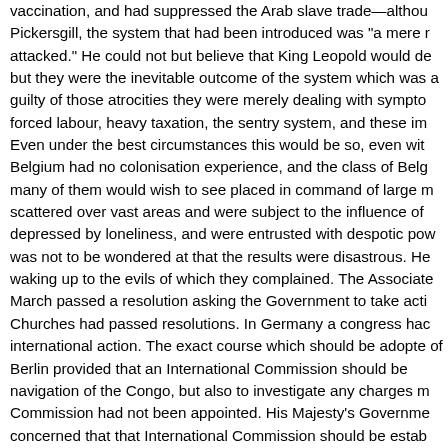vaccination, and had suppressed the Arab slave trade—althou Pickersgill, the system that had been introduced was "a mere r attacked." He could not but believe that King Leopold would de but they were the inevitable outcome of the system which was a guilty of those atrocities they were merely dealing with sympto forced labour, heavy taxation, the sentry system, and these im Even under the best circumstances this would be so, even wit Belgium had no colonisation experience, and the class of Belg many of them would wish to see placed in command of large m scattered over vast areas and were subject to the influence of depressed by loneliness, and were entrusted with despotic pow was not to be wondered at that the results were disastrous. He waking up to the evils of which they complained. The Associate March passed a resolution asking the Government to take acti Churches had passed resolutions. In Germany a congress hac international action. The exact course which should be adopte of Berlin provided that an International Commission should be navigation of the Congo, but also to investigate any charges m Commission had not been appointed. His Majesty's Governme concerned that that International Commission should be estab